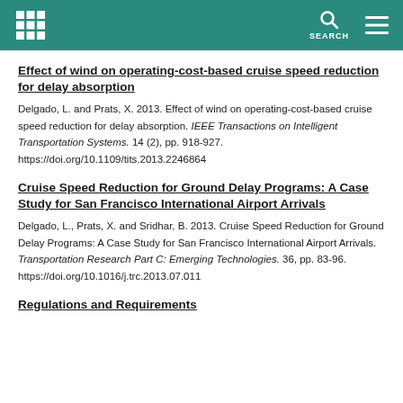SEARCH
Effect of wind on operating-cost-based cruise speed reduction for delay absorption
Delgado, L. and Prats, X. 2013. Effect of wind on operating-cost-based cruise speed reduction for delay absorption. IEEE Transactions on Intelligent Transportation Systems. 14 (2), pp. 918-927. https://doi.org/10.1109/tits.2013.2246864
Cruise Speed Reduction for Ground Delay Programs: A Case Study for San Francisco International Airport Arrivals
Delgado, L., Prats, X. and Sridhar, B. 2013. Cruise Speed Reduction for Ground Delay Programs: A Case Study for San Francisco International Airport Arrivals. Transportation Research Part C: Emerging Technologies. 36, pp. 83-96. https://doi.org/10.1016/j.trc.2013.07.011
Regulations and Requirements